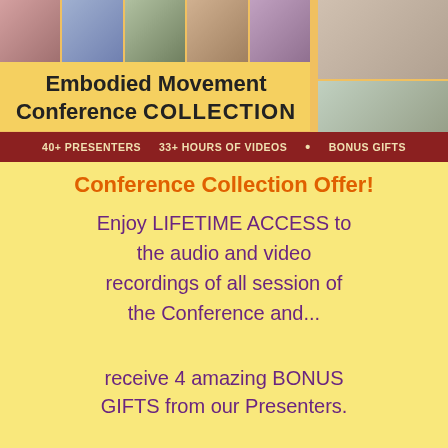[Figure (photo): Header banner for Embodied Movement Conference Collection showing a grid of presenter photos at the top, a gold/yellow title area with 'Embodied Movement Conference COLLECTION', a dark red bar with '40+ PRESENTERS 33+ HOURS OF VIDEOS * BONUS GIFTS', and two larger portrait photos on the right side.]
Conference Collection Offer!
Enjoy LIFETIME ACCESS to the audio and video recordings of all session of the Conference and...
receive 4 amazing BONUS GIFTS from our Presenters.